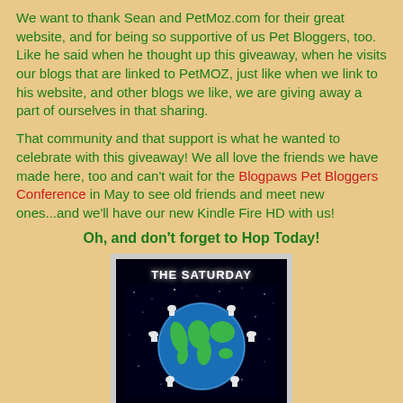We want to thank Sean and PetMoz.com for their great website, and for being so supportive of us Pet Bloggers, too. Like he said when he thought up this giveaway, when he visits our blogs that are linked to PetMOZ, just like when we link to his website, and other blogs we like, we are giving away a part of ourselves in that sharing.
That community and that support is what he wanted to celebrate with this giveaway! We all love the friends we have made here, too and can't wait for the Blogpaws Pet Bloggers Conference in May to see old friends and meet new ones...and we'll have our new Kindle Fire HD with us!
Oh, and don't forget to Hop Today!
[Figure (illustration): The Saturday pet bloggers hop logo: dark space background with a globe of Earth surrounded by silhouettes of cats and dogs, with text 'THE SATURDAY' at the top]